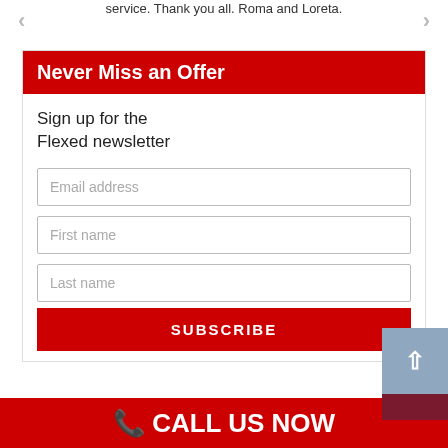service. Thank you all. Roma and Loreta.
Never Miss an Offer
Sign up for the Flexed newsletter
Email address
First name
Last name
SUBSCRIBE
CALL US NOW